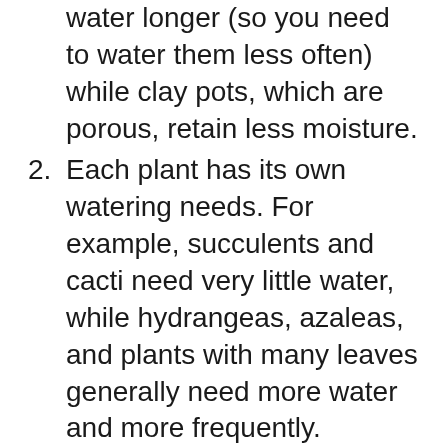water longer (so you need to water them less often) while clay pots, which are porous, retain less moisture.
2. Each plant has its own watering needs. For example, succulents and cacti need very little water, while hydrangeas, azaleas, and plants with many leaves generally need more water and more frequently.
3. During periods of active growth and flowering, plants need more water than during resting periods (dormancy).